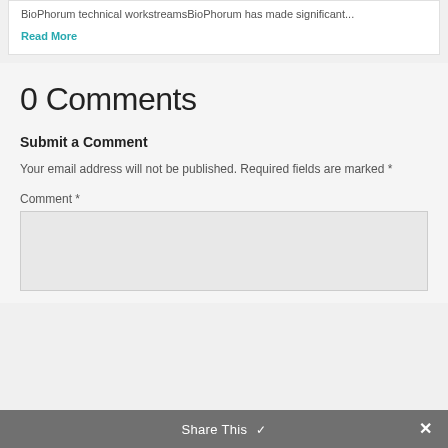BioPhorum technical workstreamsBioPhorum has made significant...
Read More
0 Comments
Submit a Comment
Your email address will not be published. Required fields are marked *
Comment *
Share This ✓ ✕